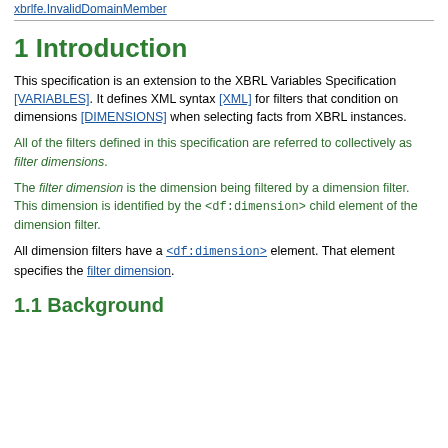xbrlfe.InvalidDomainMember
1 Introduction
This specification is an extension to the XBRL Variables Specification [VARIABLES]. It defines XML syntax [XML] for filters that condition on dimensions [DIMENSIONS] when selecting facts from XBRL instances.
All of the filters defined in this specification are referred to collectively as filter dimensions.
The filter dimension is the dimension being filtered by a dimension filter. This dimension is identified by the <df:dimension> child element of the dimension filter.
All dimension filters have a <df:dimension> element. That element specifies the filter dimension.
1.1 Background